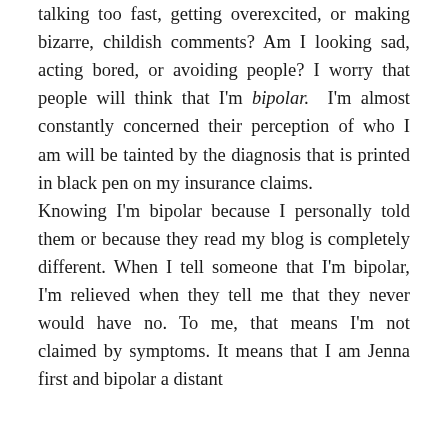talking too fast, getting overexcited, or making bizarre, childish comments? Am I looking sad, acting bored, or avoiding people? I worry that people will think that I'm bipolar. I'm almost constantly concerned their perception of who I am will be tainted by the diagnosis that is printed in black pen on my insurance claims. Knowing I'm bipolar because I personally told them or because they read my blog is completely different. When I tell someone that I'm bipolar, I'm relieved when they tell me that they never would have no. To me, that means I'm not claimed by symptoms. It means that I am Jenna first and bipolar a distant